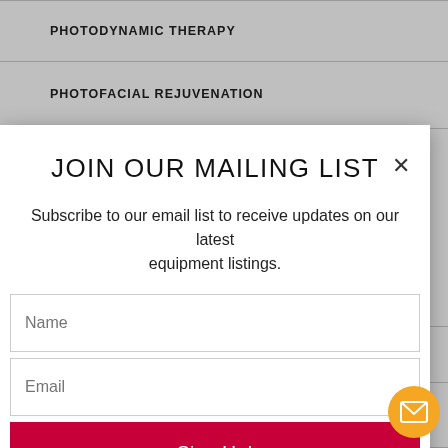PHOTODYNAMIC THERAPY
PHOTOFACIAL REJUVENATION
JOIN OUR MAILING LIST
Subscribe to our email list to receive updates on our latest equipment listings.
Name
Email
Sign Up!
SKIN REJUVENATION – NON-ABLATIVE
SKIN REJUVENATION – SUBLATIVE